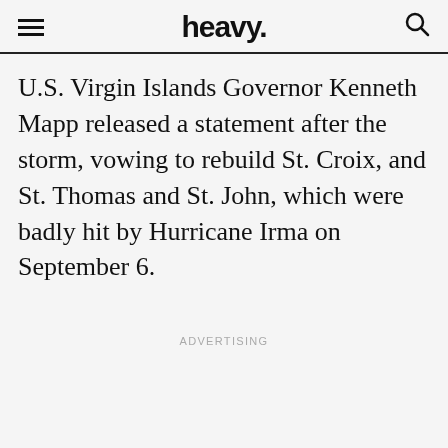heavy.
U.S. Virgin Islands Governor Kenneth Mapp released a statement after the storm, vowing to rebuild St. Croix, and St. Thomas and St. John, which were badly hit by Hurricane Irma on September 6.
ADVERTISING